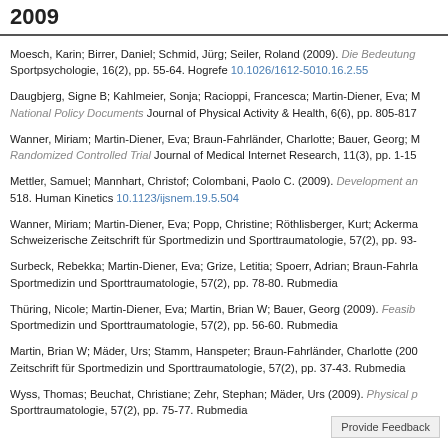2009
Moesch, Karin; Birrer, Daniel; Schmid, Jürg; Seiler, Roland (2009). Die Bedeutung... Sportpsychologie, 16(2), pp. 55-64. Hogrefe 10.1026/1612-5010.16.2.55
Daugbjerg, Signe B; Kahlmeier, Sonja; Racioppi, Francesca; Martin-Diener, Eva; M... National Policy Documents Journal of Physical Activity & Health, 6(6), pp. 805-817...
Wanner, Miriam; Martin-Diener, Eva; Braun-Fahrländer, Charlotte; Bauer, Georg; M... Randomized Controlled Trial Journal of Medical Internet Research, 11(3), pp. 1-15...
Mettler, Samuel; Mannhart, Christof; Colombani, Paolo C. (2009). Development an... 518. Human Kinetics 10.1123/ijsnem.19.5.504
Wanner, Miriam; Martin-Diener, Eva; Popp, Christine; Röthlisberger, Kurt; Ackerma... Schweizerische Zeitschrift für Sportmedizin und Sporttraumatologie, 57(2), pp. 93-...
Surbeck, Rebekka; Martin-Diener, Eva; Grize, Letitia; Spoerr, Adrian; Braun-Fahrla... Sportmedizin und Sporttraumatologie, 57(2), pp. 78-80. Rubmedia
Thüring, Nicole; Martin-Diener, Eva; Martin, Brian W; Bauer, Georg (2009). Feasib... Sportmedizin und Sporttraumatologie, 57(2), pp. 56-60. Rubmedia
Martin, Brian W; Mäder, Urs; Stamm, Hanspeter; Braun-Fahrländer, Charlotte (200... Zeitschrift für Sportmedizin und Sporttraumatologie, 57(2), pp. 37-43. Rubmedia
Wyss, Thomas; Beuchat, Christiane; Zehr, Stephan; Mäder, Urs (2009). Physical p... Sporttraumatologie, 57(2), pp. 75-77. Rubmedia